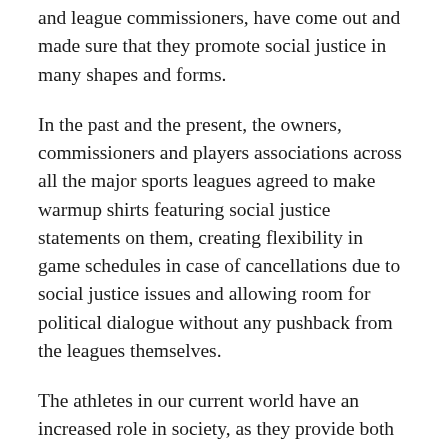and league commissioners, have come out and made sure that they promote social justice in many shapes and forms.
In the past and the present, the owners, commissioners and players associations across all the major sports leagues agreed to make warmup shirts featuring social justice statements on them, creating flexibility in game schedules in case of cancellations due to social justice issues and allowing room for political dialogue without any pushback from the leagues themselves.
The athletes in our current world have an increased role in society, as they provide both sports entertainment as well as acting as a voice for activism in the United States. Of course, there are many dissenting points of view on this issue, as some believe that athletes should not have this much say in socio-political debates and